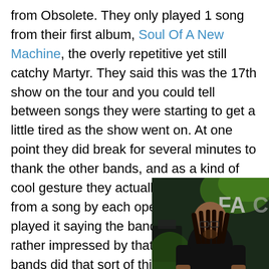from Obsolete. They only played 1 song from their first album, Soul Of A New Machine, the overly repetitive yet still catchy Martyr. They said this was the 17th show on the tour and you could tell between songs they were starting to get a little tired as the show went on. At one point they did break for several minutes to thank the other bands, and as a kind of cool gesture they actually learned a riff from a song by each opening band and played it saying the band's name. I was rather impressed by that and I wish other bands did that sort of thing. The break then continued as they brought out the vocalist, J Costa, from the opening act Thy Will Be Done to do a rather stupid Christopher Walken impersonation
[Figure (photo): A performer on stage with dreadlocks wearing a black sleeveless shirt, green stage lighting visible in background with partial text 'FAC' visible on stage backdrop]